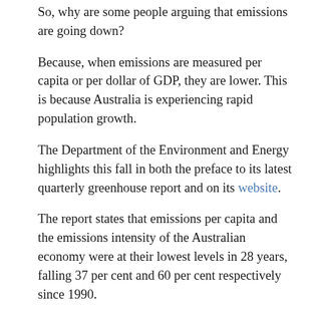So, why are some people arguing that emissions are going down?
Because, when emissions are measured per capita or per dollar of GDP, they are lower. This is because Australia is experiencing rapid population growth.
The Department of the Environment and Energy highlights this fall in both the preface to its latest quarterly greenhouse report and on its website.
The report states that emissions per capita and the emissions intensity of the Australian economy were at their lowest levels in 28 years, falling 37 per cent and 60 per cent respectively since 1990.
Embed: Emissions in Australia over time by sector.